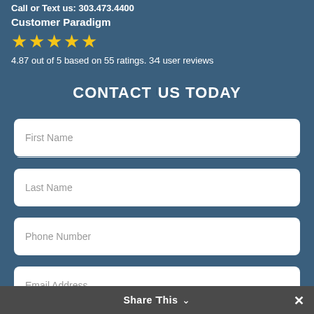Call or Text us: 303.473.4400
Customer Paradigm
[Figure (other): Five gold star rating icons]
4.87 out of 5 based on 55 ratings. 34 user reviews
CONTACT US TODAY
First Name
Last Name
Phone Number
Email Address
Share This ∨  ✕